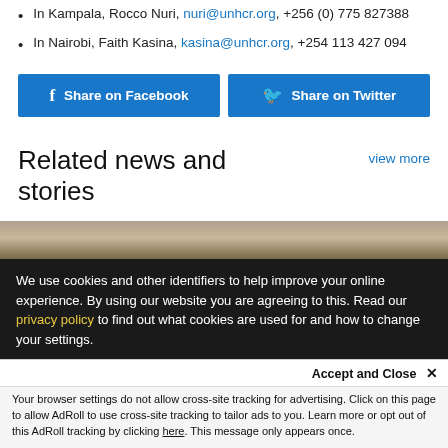In Kampala, Rocco Nuri, nuri@unhcr.org, +256 (0) 775 827388
In Nairobi, Faith Kasina, kasina@unhcr.org, +254 113 427 094
[Figure (other): Share on Facebook and Share on Twitter buttons in blue]
Related news and stories
view more
[Figure (photo): Partial photo strip visible above cookie banner]
We use cookies and other identifiers to help improve your online experience. By using our website you are agreeing to this. Read our privacy policy to find out what cookies are used for and how to change your settings.
Accept and Close ×
Your browser settings do not allow cross-site tracking for advertising. Click on this page to allow AdRoll to use cross-site tracking to tailor ads to you. Learn more or opt out of this AdRoll tracking by clicking here. This message only appears once.